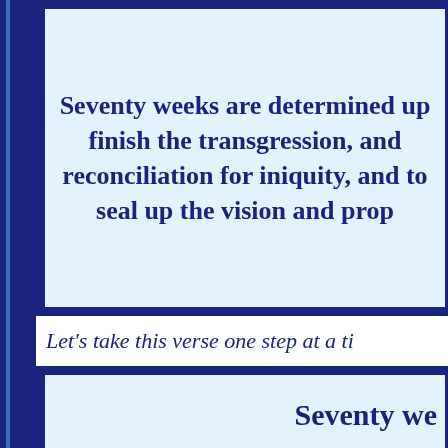Seventy weeks are determined upon thy people and upon thy holy city, to finish the transgression, and to make an end of sins, and to make reconciliation for iniquity, and to bring in everlasting righteousness, and to seal up the vision and prophecy, and to anoint the most Holy.
Let's take this verse one step at a time.
Seventy weeks are determined...
First of all, how long is 70 weeks? The...